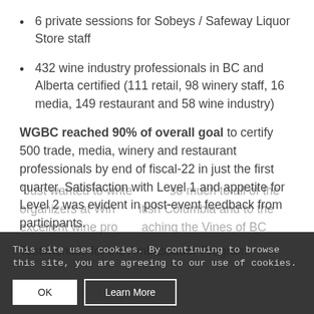6 private sessions for Sobeys / Safeway Liquor Store staff
432 wine industry professionals in BC and Alberta certified (111 retail, 98 winery staff, 16 media, 149 restaurant and 58 wine industry)
WGBC reached 90% of overall goal to certify 500 trade, media, winery and restaurant professionals by end of fiscal-22 in just the first quarter. Satisfaction with Level 1 and appetite for Level 2 was evident in post-event feedback from participants.
Testimonials for the Ambassador Program:
"Just wanted to write … so much to all of the organizers at Win… itish Columbia and to the excellent wine pro… aching the Vines of BC